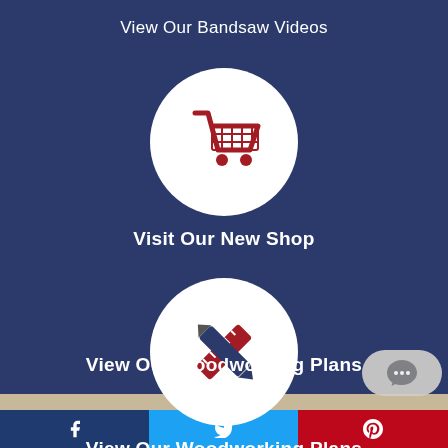View Our Bandsaw Videos
[Figure (illustration): White circle with red shopping cart icon]
Visit Our New Shop
[Figure (illustration): White circle with red pencil and ruler crossed icon (woodworking plans)]
View Our Woodworking Plans
[Figure (illustration): Social media share bar with Facebook, Twitter, and Pinterest icons]